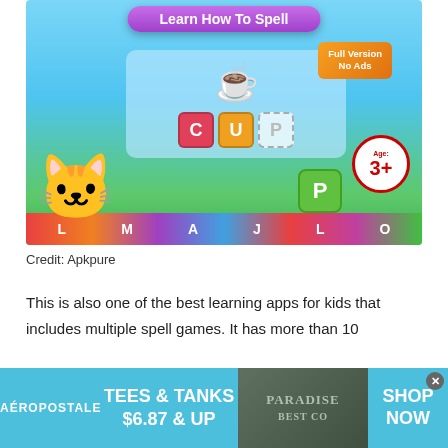[Figure (screenshot): Screenshot of a children's spelling game app called 'Learn How To Spell'. Shows a cartoon orange cat character, a red cup image to spell, letter tiles spelling C-U-P, a green P tile being dragged, an orange 'Full Version No Ads' badge, and an age badge '3+'. Colorful letter blocks at the bottom.]
Credit: Apkpure
This is also one of the best learning apps for kids that includes multiple spell games. It has more than 10
[Figure (screenshot): Advertisement banner for Aéropostale: 'TEES & TANKS $6.87 & UP' with a photo of clothing and 'SHOP NOW' text.]